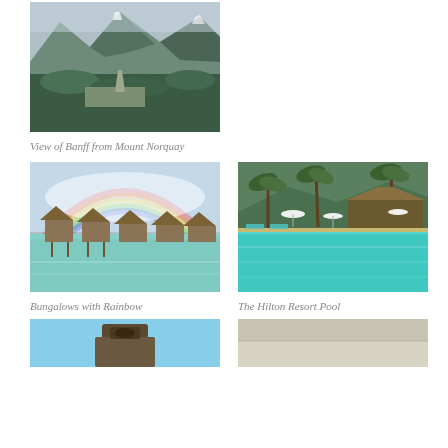[Figure (photo): Aerial view of Banff town nestled in a forested valley with mountains in the background, taken from Mount Norquay]
View of Banff from Mount Norquay
[Figure (photo): Overwater bungalows with thatched roofs over turquoise water, with a colorful rainbow arching overhead]
Bungalows with Rainbow
[Figure (photo): A large resort swimming pool with turquoise water, palm trees and a thatched-roof structure in the background, surrounded by green hills]
The Hilton Resort Pool
[Figure (photo): Partial view of a stone or wooden carved figure/totem against a blue sky]
[Figure (photo): Partial view of a sandy or light-colored surface, possibly a beach or resort area]